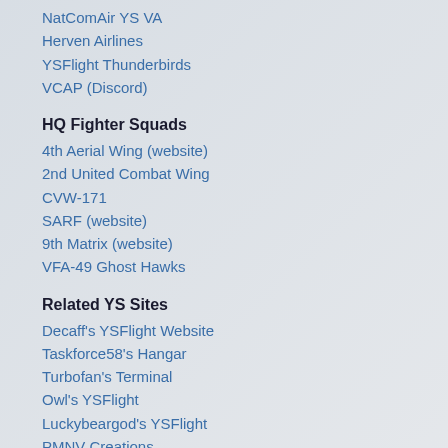NatComAir YS VA
Herven Airlines
YSFlight Thunderbirds
VCAP (Discord)
HQ Fighter Squads
4th Aerial Wing (website)
2nd United Combat Wing
CVW-171
SARF (website)
9th Matrix (website)
VFA-49 Ghost Hawks
Related YS Sites
Decaff's YSFlight Website
Taskforce58's Hangar
Turbofan's Terminal
Owl's YSFlight
Luckybeargod's YSFlight
PMNV Creations
Other YS Communities
YSFlight Korea - 한국어
YSFlight Japan (2ch) - 掲
YSFlight Indonesia
YSFlight Thailand - ภาษาไทย
Site Info